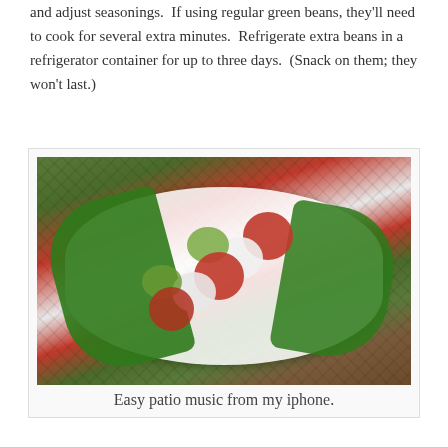and adjust seasonings.  If using regular green beans, they'll need to cook for several extra minutes.  Refrigerate extra beans in a refrigerator container for up to three days.  (Snack on them; they won't last.)
[Figure (photo): A white oval serving dish with green beans, tomato slices, mozzarella, and zucchini arranged on a dark metal lattice patio table. A smartphone is visible in the background.]
Easy patio music from my iphone.